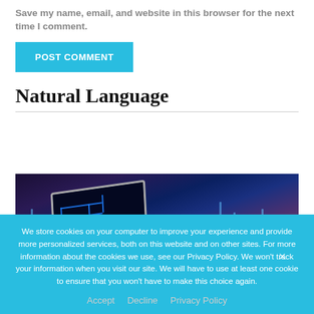Save my name, email, and website in this browser for the next time I comment.
POST COMMENT
Natural Language
[Figure (photo): Dark photograph showing a laptop with glowing blue circuit-like patterns on screen, with vertical glowing blue lines/bars in the background against a dark purple/blue background.]
We store cookies on your computer to improve your experience and provide more personalized services, both on this website and on other sites. For more information about the cookies we use, see our Privacy Policy. We won't track your information when you visit our site. We will have to use at least one cookie to ensure that you won't have to make this choice again.
Accept   Decline   Privacy Policy